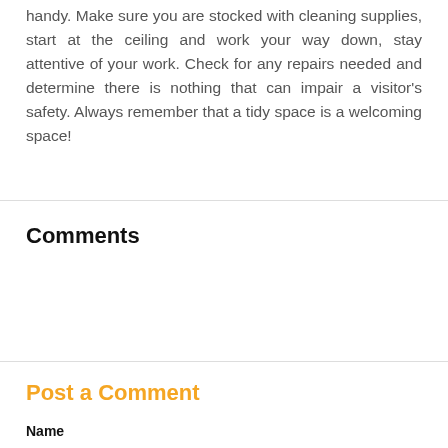handy. Make sure you are stocked with cleaning supplies, start at the ceiling and work your way down, stay attentive of your work. Check for any repairs needed and determine there is nothing that can impair a visitor's safety. Always remember that a tidy space is a welcoming space!
Comments
Post a Comment
Name